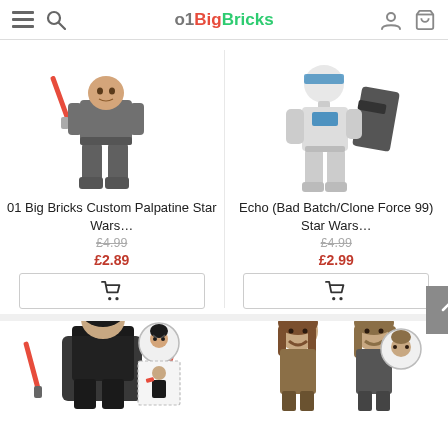01BigBricks — navigation header with menu, search, account, cart icons
[Figure (photo): LEGO minifigure of Palpatine in dark grey robe holding red lightsaber]
01 Big Bricks Custom Palpatine Star Wars…
£4.99 (original price, struck through)
£2.89 (sale price in red)
[Figure (photo): LEGO minifigure of Echo (Bad Batch/Clone Force 99) in white clone armor with blue markings holding large weapon]
Echo (Bad Batch/Clone Force 99) Star Wars…
£4.99 (original price, struck through)
£2.99 (sale price in red)
[Figure (photo): LEGO minifigure Kylo Ren in black with red lightsabers and alternate face shown in circle]
[Figure (photo): LEGO minifigures of two characters with brown hair shown at bottom right]